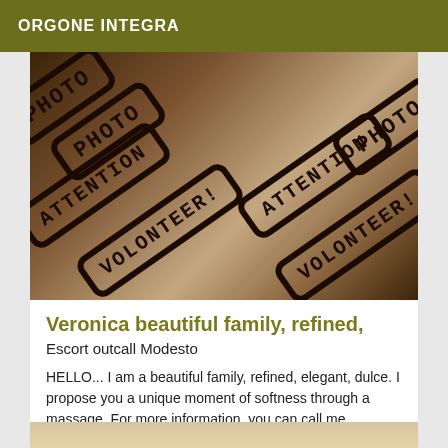ORGONE INTEGRA
[Figure (photo): Photo placeholder image showing legs/feet with multiple overlapping diagonal stamp-like signs reading PHOTO and ATTENTION VOLONTEER in black bold text on dark background]
Veronica beautiful family, refined,
Escort outcall Modesto
HELLO... I am a beautiful family, refined, elegant, dulce. I propose you a unique moment of softness through a massage. For more information, you can call me MODESTO
[Figure (photo): Partial bottom image showing what appears to be hands or skin tones with a watermark]